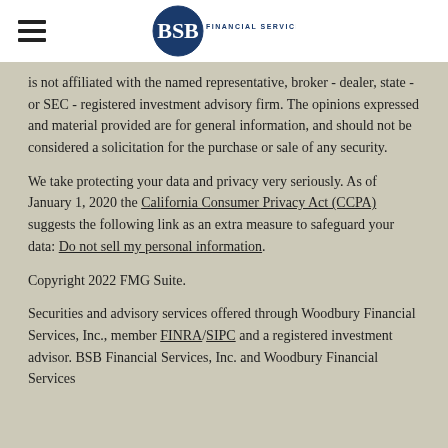BSB Financial Services, Inc.
is not affiliated with the named representative, broker - dealer, state - or SEC - registered investment advisory firm. The opinions expressed and material provided are for general information, and should not be considered a solicitation for the purchase or sale of any security.
We take protecting your data and privacy very seriously. As of January 1, 2020 the California Consumer Privacy Act (CCPA) suggests the following link as an extra measure to safeguard your data: Do not sell my personal information.
Copyright 2022 FMG Suite.
Securities and advisory services offered through Woodbury Financial Services, Inc., member FINRA/SIPC and a registered investment advisor. BSB Financial Services, Inc. and Woodbury Financial Services